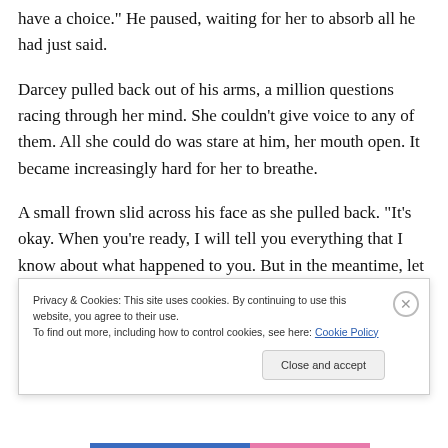have a choice.” He paused, waiting for her to absorb all he had just said.
Darcey pulled back out of his arms, a million questions racing through her mind. She couldn’t give voice to any of them. All she could do was stare at him, her mouth open. It became increasingly hard for her to breathe.
A small frown slid across his face as she pulled back. “It’s okay. When you’re ready, I will tell you everything that I know about what happened to you. But in the meantime, let me show you how to use your card.”
Privacy & Cookies: This site uses cookies. By continuing to use this website, you agree to their use.
To find out more, including how to control cookies, see here: Cookie Policy